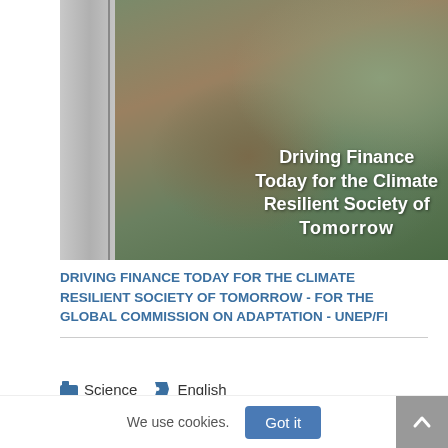[Figure (photo): Aerial photograph of a bridge or walkway structure over rocky terrain and water, with text overlay reading 'Driving Finance Today for the Climate Resilient Society of Tomorrow']
DRIVING FINANCE TODAY FOR THE CLIMATE RESILIENT SOCIETY OF TOMORROW - FOR THE GLOBAL COMMISSION ON ADAPTATION - UNEP/FI
Science   English